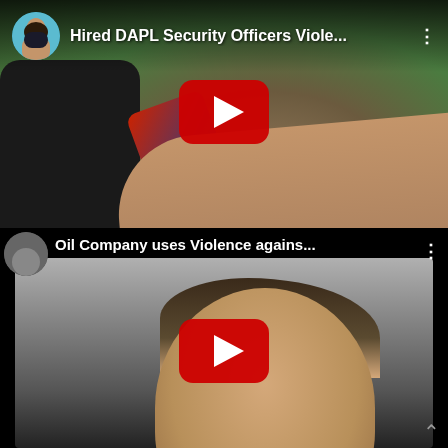[Figure (screenshot): YouTube video thumbnail showing 'Hired DAPL Security Officers Viole...' with a play button overlay. Shows a person lying on the ground outdoors.]
[Figure (screenshot): YouTube video thumbnail showing 'Oil Company uses Violence agains...' with a play button overlay. Shows a person's face in an outdoor setting.]